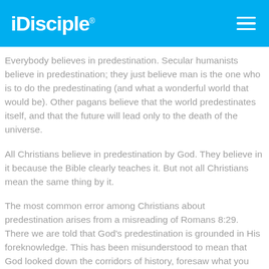iDisciple
Everybody believes in predestination. Secular humanists believe in predestination; they just believe man is the one who is to do the predestinating (and what a wonderful world that would be). Other pagans believe that the world predestinates itself, and that the future will lead only to the death of the universe.
All Christians believe in predestination by God. They believe in it because the Bible clearly teaches it. But not all Christians mean the same thing by it.
The most common error among Christians about predestination arises from a misreading of Romans 8:29. There we are told that God's predestination is grounded in His foreknowledge. This has been misunderstood to mean that God looked down the corridors of history, foresaw what you and I would do, and stuck that into His plan.
This view does not reckon with the fact that God created time, and therefore all events in time, when He created the world, so that He